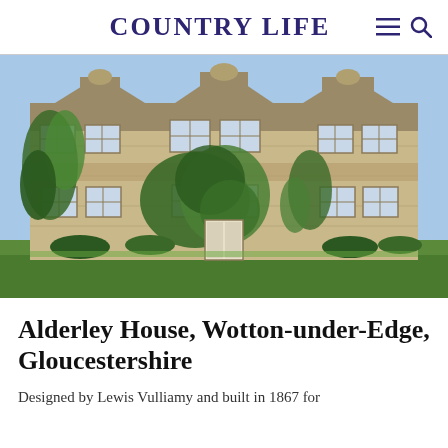COUNTRY LIFE
[Figure (photo): Exterior photograph of Alderley House, a large Jacobean-style stone manor house with ivy-covered walls, mullioned windows, stepped gables, and a well-maintained green lawn in the foreground. Blue sky visible above.]
Alderley House, Wotton-under-Edge, Gloucestershire
Designed by Lewis Vulliamy and built in 1867 for